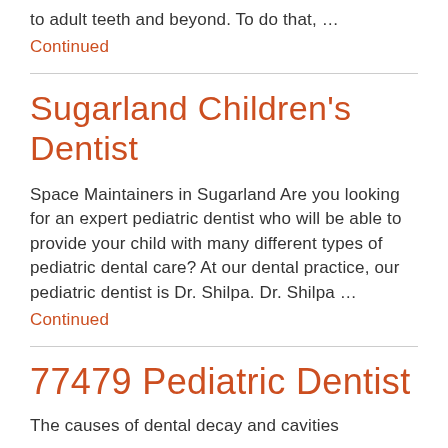to adult teeth and beyond. To do that, …
Continued
Sugarland Children's Dentist
Space Maintainers in Sugarland Are you looking for an expert pediatric dentist who will be able to provide your child with many different types of pediatric dental care? At our dental practice, our pediatric dentist is Dr. Shilpa. Dr. Shilpa …
Continued
77479 Pediatric Dentist
The causes of dental decay and cavities